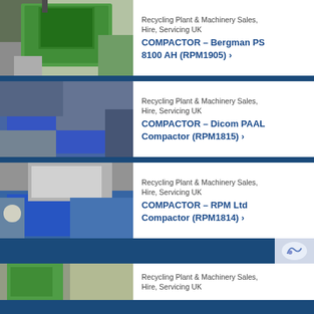[Figure (photo): Photo of a green industrial compactor machine (Bergman PS 8100 AH) outdoors]
Recycling Plant & Machinery Sales, Hire, Servicing UK
COMPACTOR - Bergman PS 8100 AH (RPM1905) ›
[Figure (photo): Photo of a blue/grey industrial compactor (Dicom PAAL) outdoors]
Recycling Plant & Machinery Sales, Hire, Servicing UK
COMPACTOR - Dicom PAAL Compactor (RPM1815) ›
[Figure (photo): Photo of a blue industrial compactor (RPM Ltd Compactor) with materials being compacted]
Recycling Plant & Machinery Sales, Hire, Servicing UK
COMPACTOR - RPM Ltd Compactor (RPM1814) ›
[Figure (photo): Partial photo of a green compactor machine (fourth listing, partially visible)]
Recycling Plant & Machinery Sales, Hire, Servicing UK